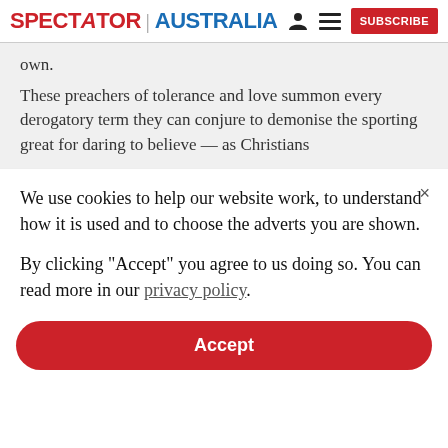SPECTATOR | AUSTRALIA  [person icon] [menu icon]  SUBSCRIBE
own.
These preachers of tolerance and love summon every derogatory term they can conjure to demonise the sporting great for daring to believe — as Christians
We use cookies to help our website work, to understand how it is used and to choose the adverts you are shown.
By clicking "Accept" you agree to us doing so. You can read more in our privacy policy.
Accept